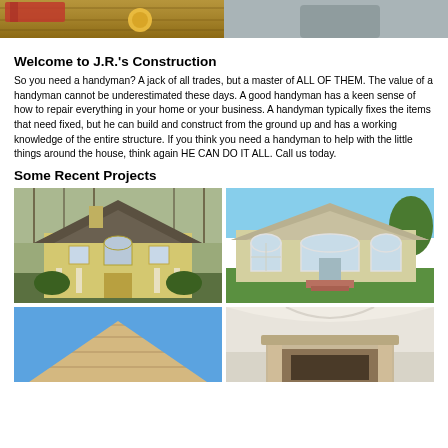[Figure (photo): Hero banner image showing construction tools on wood (left) and a person in a gray shirt (right)]
Welcome to J.R.'s Construction
So you need a handyman?  A jack of all trades, but a master of ALL OF THEM.  The value of a handyman cannot be underestimated these days.  A good handyman has a keen sense of how to repair everything in your home or your business.  A handyman typically fixes the items that need fixed, but he can build and construct from the ground up and has a working knowledge of the entire structure.  If you think you need a handyman to help with the little things around the house, think again HE CAN DO IT ALL.  Call us today.
Some Recent Projects
[Figure (photo): Large yellow colonial-style two-story house with dark roof, chimney, and green landscaping in winter/fall]
[Figure (photo): Beige ranch-style single-story home with white trim, arched windows, brick steps, and green lawn]
[Figure (photo): Close-up of a peaked roof gable with light brown shingles against blue sky]
[Figure (photo): Interior room showing ceiling work, white walls, and decorative wooden fireplace mantel]